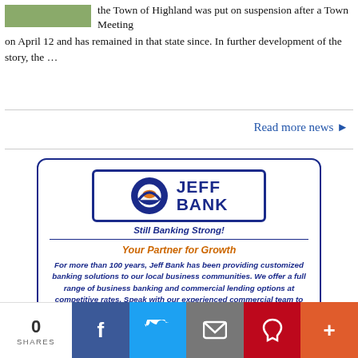the Town of Highland was put on suspension after a Town Meeting on April 12 and has remained in that state since. In further development of the story, the …
Read more news ▶
[Figure (logo): Jeff Bank logo with tagline 'Still Banking Strong!' and an advertisement reading 'Your Partner for Growth'. For more than 100 years, Jeff Bank has been providing customized banking solutions to our local business communities. We offer a full range of business banking and commercial lending options at competitive rates. Speak with our experienced commercial team to see how we can help you.]
0 SHARES